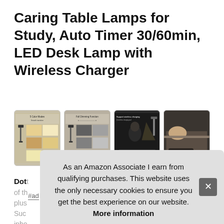Caring Table Lamps for Study, Auto Timer 30/60min, LED Desk Lamp with Wireless Charger
#ad
[Figure (photo): Four product images of LED desk lamp showing color modes, dimming features, wireless charging, and auto off timer]
Dott... of th... plus... Suc... ipho...
As an Amazon Associate I earn from qualifying purchases. This website uses the only necessary cookies to ensure you get the best experience on our website. More information